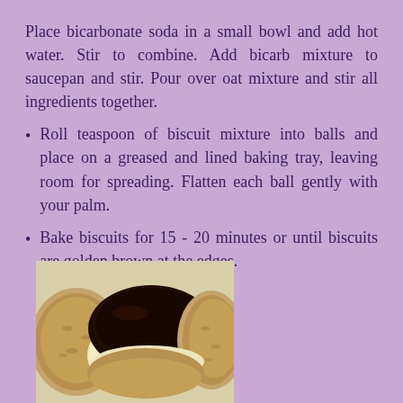Place bicarbonate soda in a small bowl and add hot water. Stir to combine. Add bicarb mixture to saucepan and stir. Pour over oat mixture and stir all ingredients together.
Roll teaspoon of biscuit mixture into balls and place on a greased and lined baking tray, leaving room for spreading. Flatten each ball gently with your palm.
Bake biscuits for 15 - 20 minutes or until biscuits are golden brown at the edges.
[Figure (photo): A close-up photo of biscuits/cookies, some with dark chocolate topping and cream filling, alongside plain oat-coloured cookies.]